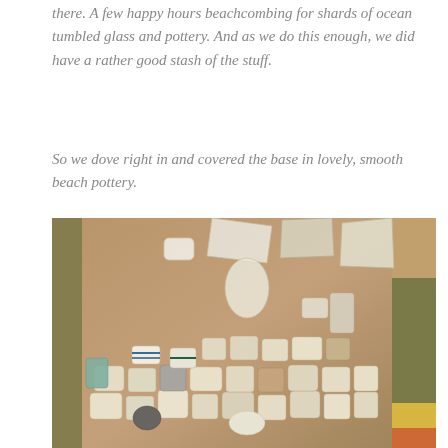there. A few happy hours beachcombing for shards of ocean tumbled glass and pottery. And as we do this enough, we did have a rather good stash of the stuff.
So we dove right in and covered the base in lovely, smooth beach pottery.
[Figure (photo): Close-up photograph of a large ceramic vase or urn covered in beach pottery shards and sea glass pieces glued to the surface in a mosaic style. The pieces are mostly cream, white, and beige colored pottery fragments of various shapes. A plant and colorful objects are visible in the background.]